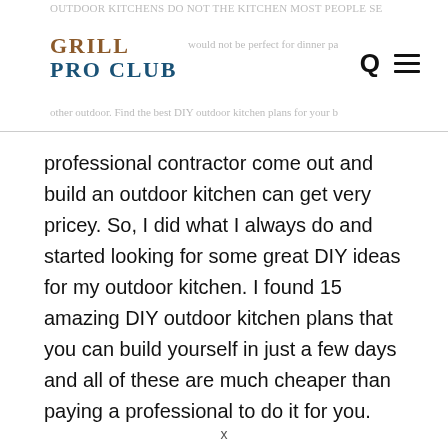GRILL PRO CLUB
professional contractor come out and build an outdoor kitchen can get very pricey. So, I did what I always do and started looking for some great DIY ideas for my outdoor kitchen. I found 15 amazing DIY outdoor kitchen plans that you can build yourself in just a few days and all of these are much cheaper than paying a professional to do it for you.
x